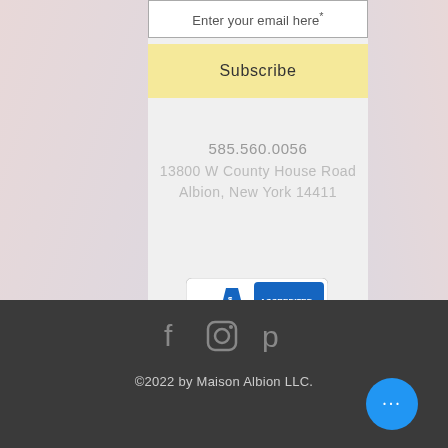Enter your email here*
Subscribe
585.560.0056
13800 W County House Road
Albion, New York 14411
[Figure (logo): BBB Accredited Business badge — shield logo with 'BBB' text and blue banner reading 'ACCREDITED BUSINESS']
[Figure (infographic): Social media icons: Facebook (f), Instagram (camera), Pinterest (P) in gray on dark background]
©2022 by Maison Albion LLC.